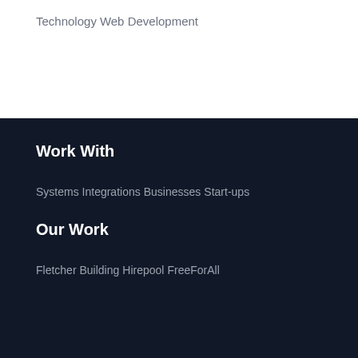Technology
Web Development
Work With
Systems Integrations
Businesses
Start-ups
Our Work
Fletcher Building
Hirepool
FreeForAll